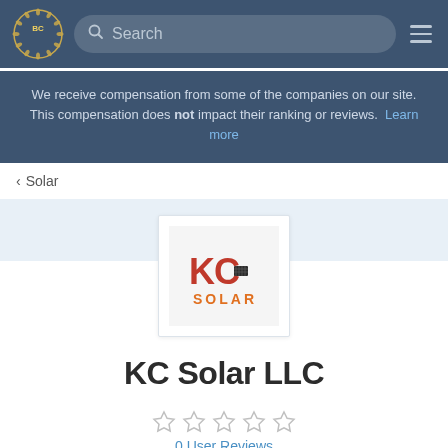[Figure (screenshot): Navigation bar with BC logo, search bar, and hamburger menu on dark blue background]
We receive compensation from some of the companies on our site. This compensation does not impact their ranking or reviews. Learn more
< Solar
[Figure (logo): KC Solar LLC logo — letters KC in red/orange with SOLAR in orange below, on a light gray background]
KC Solar LLC
[Figure (other): Five empty star rating icons (0 out of 5 stars)]
0 User Reviews
Good   Bad   Bottom Line   Reviews   Write a Review